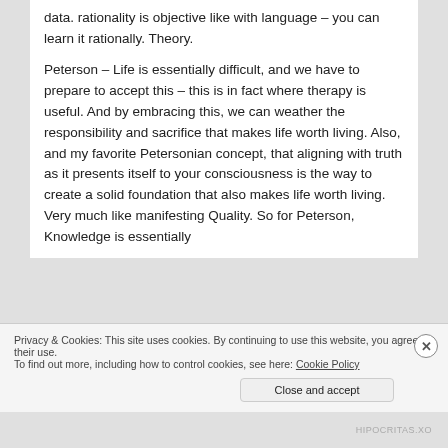data. rationality is objective like with language – you can learn it rationally. Theory.
Peterson – Life is essentially difficult, and we have to prepare to accept this – this is in fact where therapy is useful. And by embracing this, we can weather the responsibility and sacrifice that makes life worth living. Also, and my favorite Petersonian concept, that aligning with truth as it presents itself to your consciousness is the way to create a solid foundation that also makes life worth living. Very much like manifesting Quality. So for Peterson, Knowledge is essentially
Privacy & Cookies: This site uses cookies. By continuing to use this website, you agree to their use.
To find out more, including how to control cookies, see here: Cookie Policy
Close and accept
HIPOCRITAS.XO